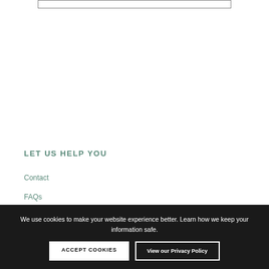LET US HELP YOU
Contact
FAQs
Shipping & Delivery
Returns
We use cookies to make your website experience better. Learn how we keep your information safe.
ACCEPT COOKIES
View our Privacy Policy